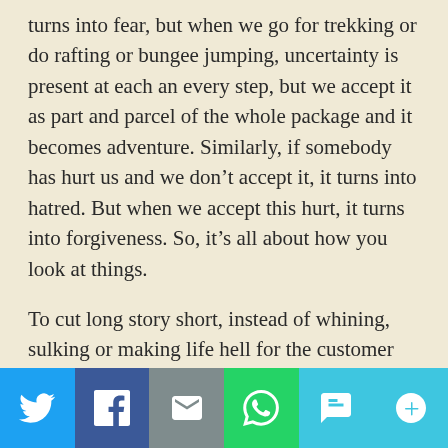turns into fear, but when we go for trekking or do rafting or bungee jumping, uncertainty is present at each an every step, but we accept it as part and parcel of the whole package and it becomes adventure. Similarly, if somebody has hurt us and we don't accept it, it turns into hatred. But when we accept this hurt, it turns into forgiveness. So, it's all about how you look at things.
To cut long story short, instead of whining, sulking or making life hell for the customer care for messing up with one of my life-lines, I calmly accepted the internet issue and focussed on books.
[Figure (infographic): Social media share bar with six buttons: Twitter (blue bird icon), Facebook (blue f icon), Email (grey envelope icon), WhatsApp (green phone icon), SMS (light blue SMS icon), More (light blue circular arrows icon)]